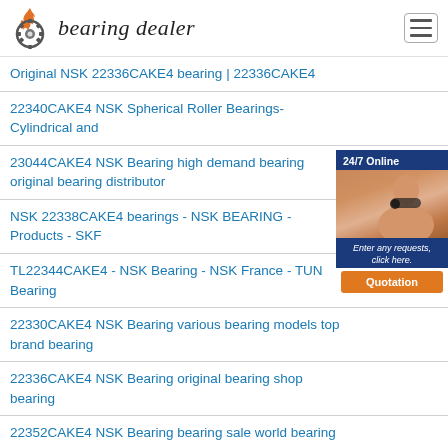bearing dealer
Original NSK 22336CAKE4 bearing | 22336CAKE4
22340CAKE4 NSK Spherical Roller Bearings- Cylindrical and
23044CAKE4 NSK Bearing high demand bearing original bearing distributor
NSK 22338CAKE4 bearings - NSK BEARING - Products - SKF
TL22344CAKE4 - NSK Bearing - NSK France - TUN Bearing
22330CAKE4 NSK Bearing various bearing models top brand bearing
22336CAKE4 NSK Bearing original bearing shop bearing
22352CAKE4 NSK Bearing bearing sale world bearing supply
Ethiopia 22332CAKE4 - NSK Bearing - 22...
230/530CAKE4 NSK Bearing bearing various... bearing market